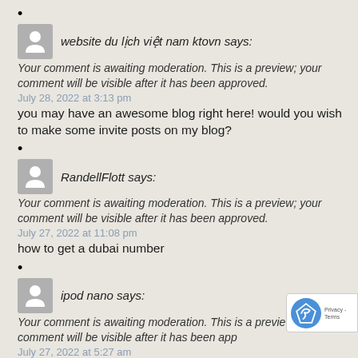website du lịch việt nam ktovn says:
Your comment is awaiting moderation. This is a preview; your comment will be visible after it has been approved.
July 28, 2022 at 3:13 pm
you may have an awesome blog right here! would you wish to make some invite posts on my blog?
RandellFlott says:
Your comment is awaiting moderation. This is a preview; your comment will be visible after it has been approved.
July 27, 2022 at 11:08 pm
how to get a dubai number
ipod nano says:
Your comment is awaiting moderation. This is a preview; your comment will be visible after it has been app
July 27, 2022 at 5:27 am
Appreciate you sharing, great blog post.Really loo forward to read more. Keep writing.